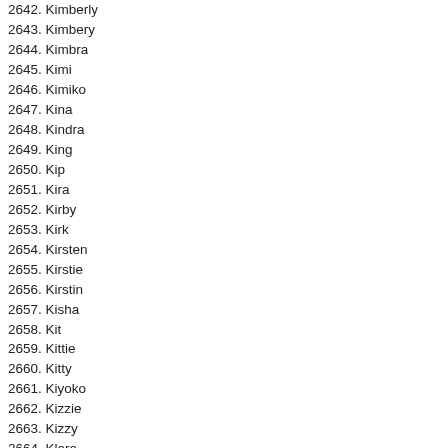2642. Kimberly
2643. Kimbery
2644. Kimbra
2645. Kimi
2646. Kimiko
2647. Kina
2648. Kindra
2649. King
2650. Kip
2651. Kira
2652. Kirby
2653. Kirk
2654. Kirsten
2655. Kirstie
2656. Kirstin
2657. Kisha
2658. Kit
2659. Kittie
2660. Kitty
2661. Kiyoko
2662. Kizzie
2663. Kizzy
2664. Klara
2665. Korey
2666. Kori
2667. Kortney